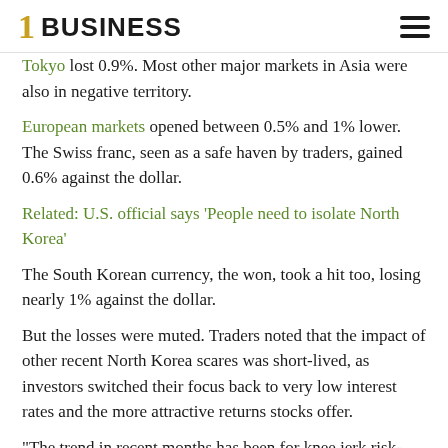1 BUSINESS
Tokyo lost 0.9%. Most other major markets in Asia were also in negative territory.
European markets opened between 0.5% and 1% lower. The Swiss franc, seen as a safe haven by traders, gained 0.6% against the dollar.
Related: U.S. official says ‘People need to isolate North Korea’
The South Korean currency, the won, took a hit too, losing nearly 1% against the dollar.
But the losses were muted. Traders noted that the impact of other recent North Korea scares was short-lived, as investors switched their focus back to very low interest rates and the more attractive returns stocks offer.
“The trend in recent months has been for knee jerk risk-averse reactions to geopolitical events to be followed by a gradual recovery … as global monetary accommodation has its usual pacifying effect in markets,” noted Kit Juckes at Societe Generale. “A repeat of that pattern